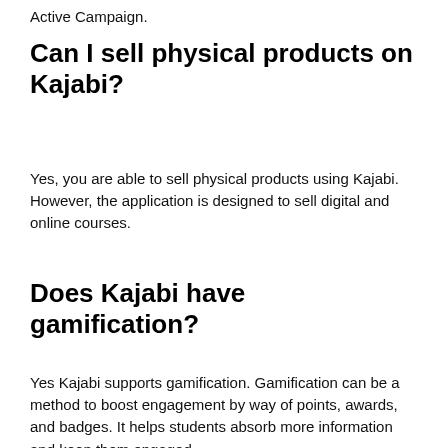Active Campaign.
Can I sell physical products on Kajabi?
Yes, you are able to sell physical products using Kajabi. However, the application is designed to sell digital and online courses.
Does Kajabi have gamification?
Yes Kajabi supports gamification. Gamification can be a method to boost engagement by way of points, awards, and badges. It helps students absorb more information and keep them engaged.